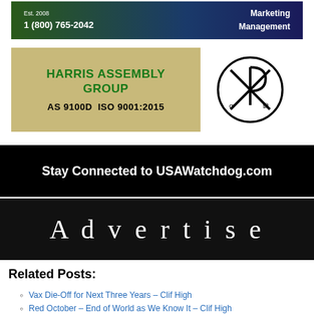[Figure (advertisement): Dark gradient banner with 'Est. 2008', phone number '1 (800) 765-2042', and 'Marketing Management' text in white on dark green-to-blue gradient background.]
[Figure (advertisement): Harris Assembly Group advertisement on tan/khaki background with green bold text 'HARRIS ASSEMBLY GROUP' and 'AS 9100D ISO 9001:2015', alongside a Chi-Rho (Christian symbol) circular logo.]
[Figure (advertisement): Black banner reading 'Stay Connected to USAWatchdog.com' in white bold text.]
[Figure (advertisement): Black banner reading 'Advertise' in large white serif text with letter spacing.]
Related Posts:
Vax Die-Off for Next Three Years – Clif High
Red October – End of World as We Know It – Clif High